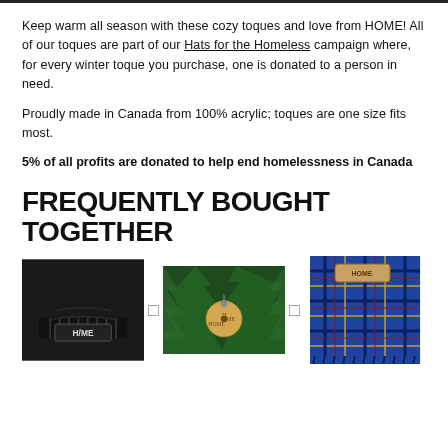Keep warm all season with these cozy toques and love from HOME! All of our toques are part of our Hats for the Homeless campaign where, for every winter toque you purchase, one is donated to a person in need.
Proudly made in Canada from 100% acrylic; toques are one size fits most.
5% of all profits are donated to help end homelessness in Canada
FREQUENTLY BOUGHT TOGETHER
[Figure (photo): Three product images side by side: a black HOME beanie hat, a Christmas tree ornament with HOME branding on green pine branches, and a blue plaid scarf with HOME label. Plus icons between products.]